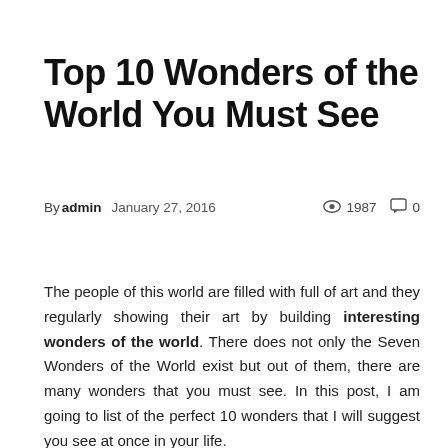Top 10 Wonders of the World You Must See
By admin   January 27, 2016   1987   0
The people of this world are filled with full of art and they regularly showing their art by building interesting wonders of the world. There does not only the Seven Wonders of the World exist but out of them, there are many wonders that you must see. In this post, I am going to list of the perfect 10 wonders that I will suggest you see at once in your life.